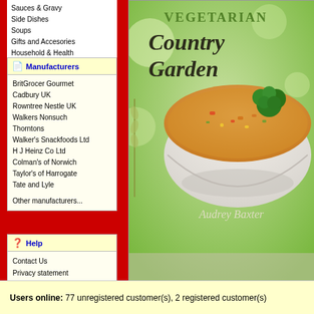Sauces & Gravy
Side Dishes
Soups
Gifts and Accesories
Household & Health
Manufacturers
BritGrocer Gourmet
Cadbury UK
Rowntree Nestle UK
Walkers Nonsuch
Thorntons
Walker's Snackfoods Ltd
H J Heinz Co Ltd
Colman's of Norwich
Taylor's of Harrogate
Tate and Lyle
Other manufacturers...
Help
Contact Us
Privacy statement
Terms & Conditions
[Figure (photo): Partial view of an Audrey Baxter Vegetarian Country Garden soup can/package label, showing a bowl of vegetable soup with broccoli, with 'VEGETARIAN Country Garden' text visible]
Users online:  77 unregistered customer(s), 2 registered customer(s)